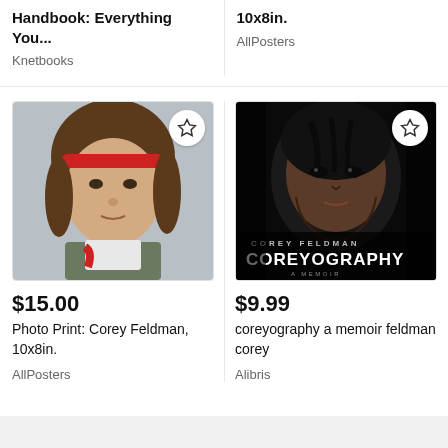Handbook: Everything You...
Knetbooks
10x8in.
AllPosters
[Figure (photo): Young person with red headband, wearing olive jacket, looking at camera]
$15.00
Photo Print: Corey Feldman, 10x8in.
AllPosters
[Figure (photo): Corey Feldman Coreyography book cover - dark portrait with text COREY FELDMAN COREYOGRAPHY A MEMOIR]
$9.99
coreyography a memoir feldman corey
Alibris